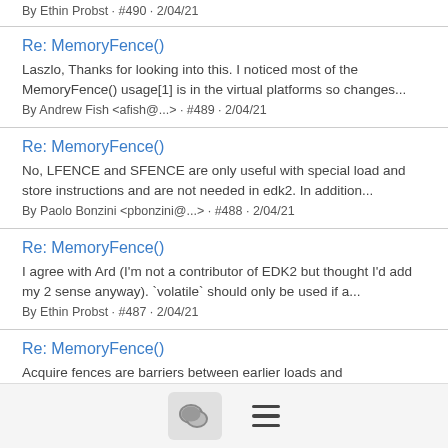By Ethin Probst · #490 · 2/04/21
Re: MemoryFence()
Laszlo, Thanks for looking into this. I noticed most of the MemoryFence() usage[1] is in the virtual platforms so changes...
By Andrew Fish <afish@...> · #489 · 2/04/21
Re: MemoryFence()
No, LFENCE and SFENCE are only useful with special load and store instructions and are not needed in edk2. In addition...
By Paolo Bonzini <pbonzini@...> · #488 · 2/04/21
Re: MemoryFence()
I agree with Ard (I'm not a contributor of EDK2 but thought I'd add my 2 sense anyway). `volatile` should only be used if a...
By Ethin Probst · #487 · 2/04/21
Re: MemoryFence()
Acquire fences are barriers between earlier loads and